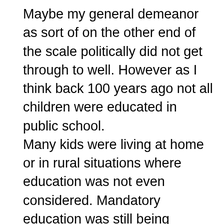Maybe my general demeanor as sort of on the other end of the scale politically did not get through to well. However as I think back 100 years ago not all children were educated in public school. Many kids were living at home or in rural situations where education was not even considered. Mandatory education was still being worked on as late as 1974. In 1972 in Macon Georgia as a part of the work I was doing involving disabled students we found 284 children who had never been in school in less than 60 days. All were disabled and were not required at that time to attend school and in reality most had no place they could go. Now all children are educated in the United States or have the right to free and